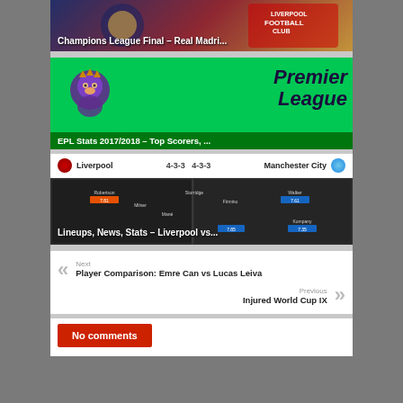[Figure (photo): Champions League Final thumbnail showing Real Madrid and Liverpool crests]
Champions League Final – Real Madri...
[Figure (photo): Premier League logo on green background with lion mascot]
EPL Stats 2017/2018 – Top Scorers, ...
Liverpool  4-3-3  4-3-3  Manchester City
[Figure (screenshot): Dark tactical lineup view showing Liverpool vs Manchester City formations]
Lineups, News, Stats – Liverpool vs...
Next
Player Comparison: Emre Can vs Lucas Leiva
Previous
Injured World Cup IX
No comments